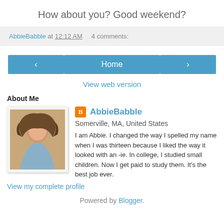How about you? Good weekend?
AbbieBabble at 12:12 AM    4 comments:
[Figure (other): Navigation buttons: left arrow, Home, right arrow]
View web version
About Me
[Figure (photo): Profile photo of AbbieBabble, a young woman with long hair]
AbbieBabble
Somerville, MA, United States
I am Abbie. I changed the way I spelled my name when I was thirteen because I liked the way it looked with an -ie. In college, I studied small children. Now I get paid to study them. It's the best job ever.
View my complete profile
Powered by Blogger.